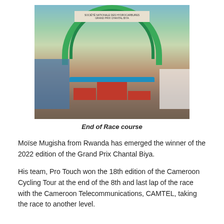[Figure (photo): Podium ceremony at the end of race course, with winners standing on a decorated stage under a green inflatable arch sponsored by Société Nationale des Hydrocarbures. Spectators and officials surround the stage.]
End of Race course
Moïse Mugisha from Rwanda has emerged the winner of the 2022 edition of the Grand Prix Chantal Biya.
His team, Pro Touch won the 18th edition of the Cameroon Cycling Tour at the end of the 8th and last lap of the race with the Cameroon Telecommunications, CAMTEL, taking the race to another level.